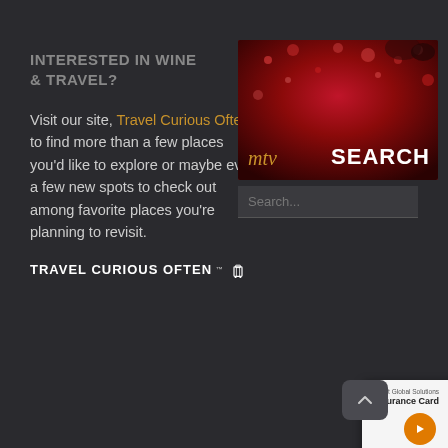INTERESTED IN WINE & TRAVEL?
Visit our site, Travel Curious Often, to find more than a few places you'd like to explore or maybe even a few new spots to check out among favorite places you're planning to revisit.
TRAVEL CURIOUS OFTEN™
[Figure (screenshot): Wine search banner showing red wine with droplets and a script logo 'mtv' with the word SEARCH in large white bold text, followed by a search input box below]
[Figure (screenshot): Sysnet Global Solutions Assurance Card mockup showing card with orange button/chevron]